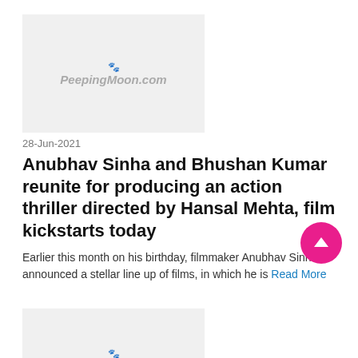[Figure (logo): PeepingMoon.com logo on grey thumbnail background]
28-Jun-2021
Anubhav Sinha and Bhushan Kumar reunite for producing an action thriller directed by Hansal Mehta, film kickstarts today
Earlier this month on his birthday, filmmaker Anubhav Sinha announced a stellar line up of films, in which he is Read More
[Figure (logo): PeepingMoon.com logo on grey thumbnail background]
12-Jun-2021
'Scam 1992' becomes the highest rated Indian show among IMDB's top 250 shows of all time!